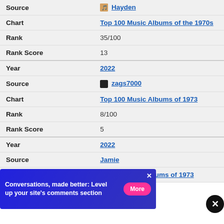| Field | Value |
| --- | --- |
| Source | Hayden |
| Chart | Top 100 Music Albums of the 1970s |
| Rank | 35/100 |
| Rank Score | 13 |
| Year | 2022 |
| Source | zags7000 |
| Chart | Top 100 Music Albums of 1973 |
| Rank | 8/100 |
| Rank Score | 5 |
| Year | 2022 |
| Source | Jamie |
| Chart | Top 10 Music Albums of 1973 |
[Figure (screenshot): Advertisement banner: 'Conversations, made better: Level up your site's comments section' with a pink More button on blue background]